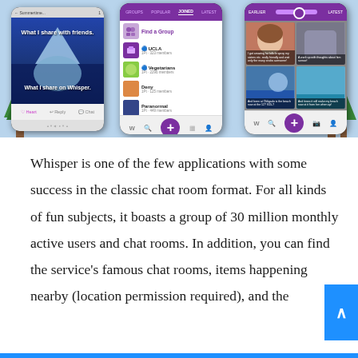[Figure (screenshot): Three smartphone screenshots of the Whisper app: left shows an iceberg meme ('What I share with friends' above waterline, 'What I share on Whisper' below), center shows the Groups tab with a list including Find a Group, UCLA, Vegetarians, Deny, Paranormal, and Create a Group, right shows a photo grid with a range slider control and images with overlaid text.]
Whisper is one of the few applications with some success in the classic chat room format. For all kinds of fun subjects, it boasts a group of 30 million monthly active users and chat rooms. In addition, you can find the service's famous chat rooms, items happening nearby (location permission required), and the